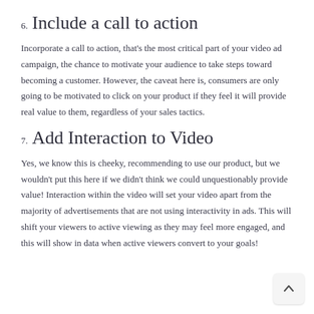6. Include a call to action
Incorporate a call to action, that’s the most critical part of your video ad campaign, the chance to motivate your audience to take steps toward becoming a customer. However, the caveat here is, consumers are only going to be motivated to click on your product if they feel it will provide real value to them, regardless of your sales tactics.
7. Add Interaction to Video
Yes, we know this is cheeky, recommending to use our product, but we wouldn’t put this here if we didn’t think we could unquestionably provide value! Interaction within the video will set your video apart from the majority of advertisements that are not using interactivity in ads. This will shift your viewers to active viewing as they may feel more engaged, and this will show in data when active viewers convert to your goals!